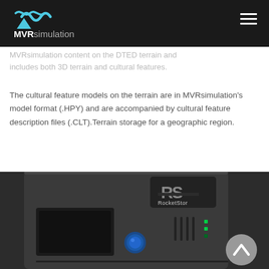MVRsimulation
includes both 3D terrain and cultural features.
The cultural feature models on the terrain are in MVRsimulation's model format (.HPY) and are accompanied by cultural feature description files (.CLT).Terrain storage for a geographic region.
[Figure (photo): A RocketStor branded storage device (dark gray enclosure) with RS logo badge, a blue indicator light, and ventilation slots visible on the front panel.]